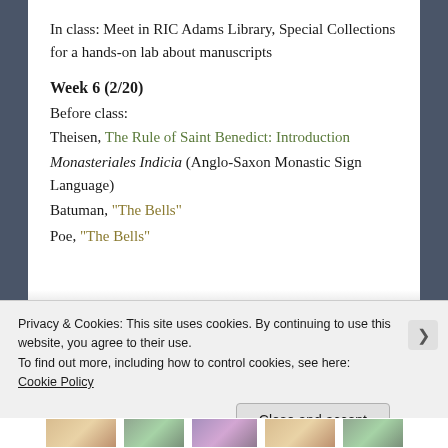In class: Meet in RIC Adams Library, Special Collections for a hands-on lab about manuscripts
Week 6 (2/20)
Before class:
Theisen, The Rule of Saint Benedict: Introduction
Monasteriales Indicia (Anglo-Saxon Monastic Sign Language)
Batuman, “The Bells”
Poe, “The Bells”
Privacy & Cookies: This site uses cookies. By continuing to use this website, you agree to their use.
To find out more, including how to control cookies, see here:
Cookie Policy
Close and accept